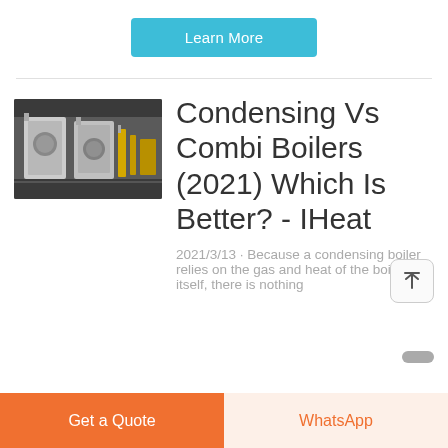Learn More
[Figure (photo): Industrial boiler room with large cylindrical white boilers and yellow equipment in a warehouse setting]
Condensing Vs Combi Boilers (2021) Which Is Better? - IHeat
2021/3/13 · Because a condensing boiler relies on the gas and heat of the boiler itself, there is nothing
Get a Quote
WhatsApp